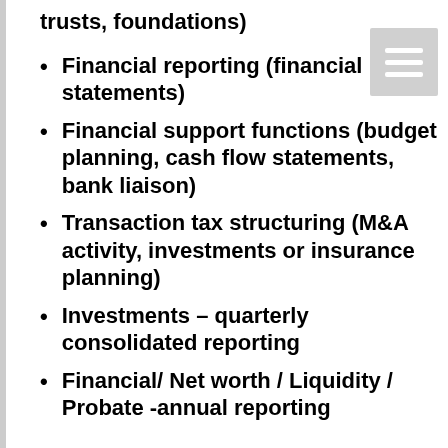trusts, foundations)
Financial reporting (financial statements)
Financial support functions (budget planning, cash flow statements, bank liaison)
Transaction tax structuring (M&A activity, investments or insurance planning)
Investments – quarterly consolidated reporting
Financial/ Net worth / Liquidity / Probate -annual reporting